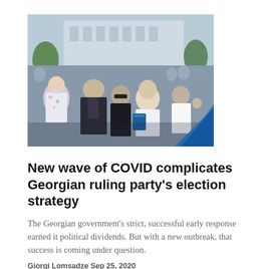[Figure (photo): Outdoor crowd scene with people in masks, politicians or public figures in foreground, building visible in background]
New wave of COVID complicates Georgian ruling party's election strategy
The Georgian government's strict, successful early response earned it political dividends. But with a new outbreak, that success is coming under question.
Giorgi Lomsadze Sep 25, 2020
[Figure (photo): Partial photo at bottom of page, appears to show indoor scene with objects]